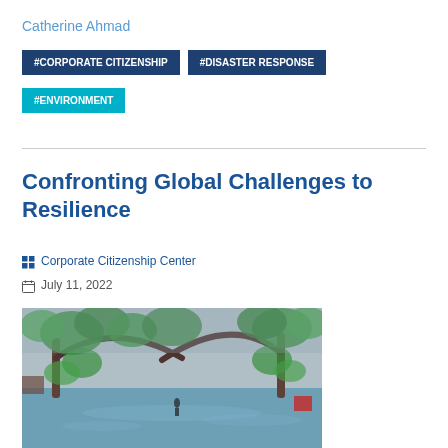Catherine Ahmad
#CORPORATE CITIZENSHIP
#DISASTER RESPONSE
#ENVIRONMENT
Confronting Global Challenges to Resilience
Corporate Citizenship Center
July 11, 2022
[Figure (photo): Flooded street or park with large arching oak trees on both sides, water covering the road, green vegetation visible, overcast sky]